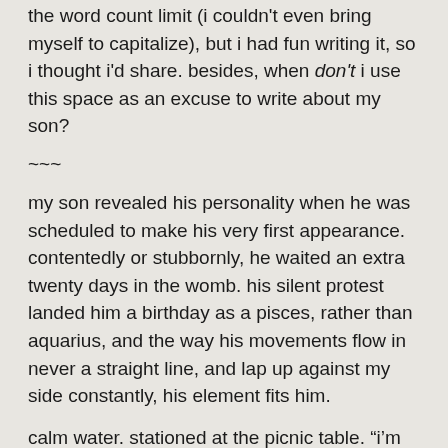the word count limit (i couldn't even bring myself to capitalize), but i had fun writing it, so i thought i'd share. besides, when don't i use this space as an excuse to write about my son?
~~~
my son revealed his personality when he was scheduled to make his very first appearance. contentedly or stubbornly, he waited an extra twenty days in the womb. his silent protest landed him a birthday as a pisces, rather than aquarius, and the way his movements flow in never a straight line, and lap up against my side constantly, his element fits him.
calm water. stationed at the picnic table. “i’m focused on coloring dinosaurs right now.” mouth open and tongue out.